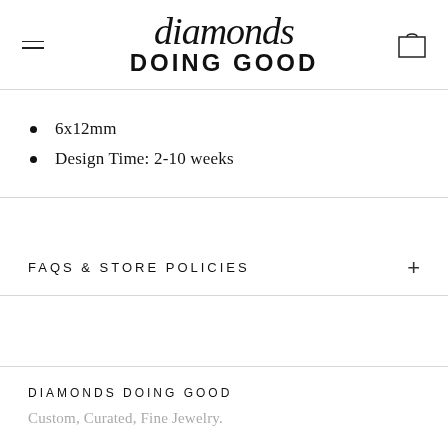diamonds DOING GOOD
6x12mm
Design Time: 2-10 weeks
FAQS & STORE POLICIES
DIAMONDS DOING GOOD
Custom, Curated, Fine Jewelry.